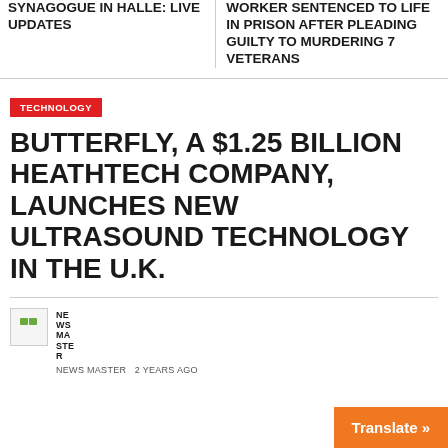SYNAGOGUE IN HALLE: LIVE UPDATES
WORKER SENTENCED TO LIFE IN PRISON AFTER PLEADING GUILTY TO MURDERING 7 VETERANS
TECHNOLOGY
BUTTERFLY, A $1.25 BILLION HEATHTECH COMPANY, LAUNCHES NEW ULTRASOUND TECHNOLOGY IN THE U.K.
NEWS MASTER  2 YEARS AGO